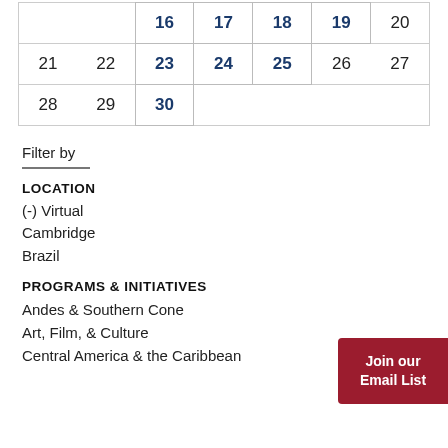|  |  | 16 | 17 | 18 | 19 | 20 |
| 21 | 22 | 23 | 24 | 25 | 26 | 27 |
| 28 | 29 | 30 |  |  |  |  |
Filter by
LOCATION
(-) Virtual
Cambridge
Brazil
PROGRAMS & INITIATIVES
Andes & Southern Cone
Art, Film, & Culture
Central America & the Caribbean
[Figure (other): Join our Email List button (dark red)]